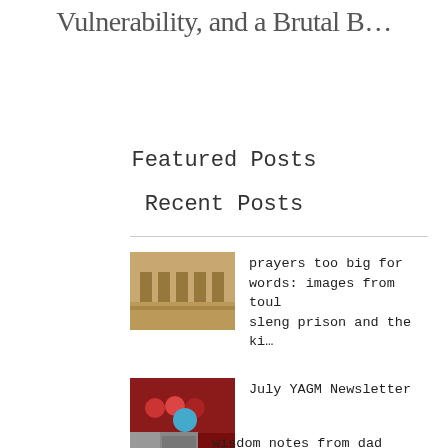Vulnerability, and a Brutal B…
Featured Posts
Recent Posts
prayers too big for words: images from toul sleng prison and the ki…
July YAGM Newsletter
wisdom notes from dad